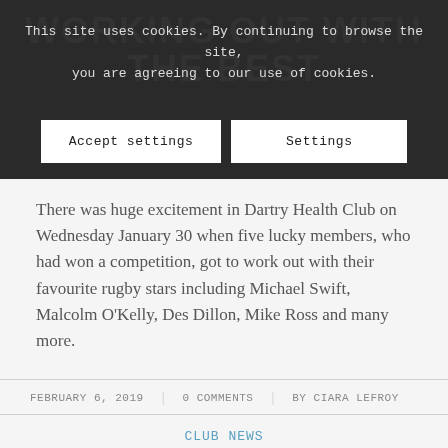WORKING OUT WITH THE BEST
This site uses cookies. By continuing to browse the site, you are agreeing to our use of cookies.
Accept settings | Settings
There was huge excitement in Dartry Health Club on Wednesday January 30 when five lucky members, who had won a competition, got to work out with their favourite rugby stars including Michael Swift, Malcolm O’Kelly, Des Dillon, Mike Ross and many more.
FEBRUARY 6, 2019 | 0 COMMENTS | BY CIARA LEFROY
CLUB NEWS